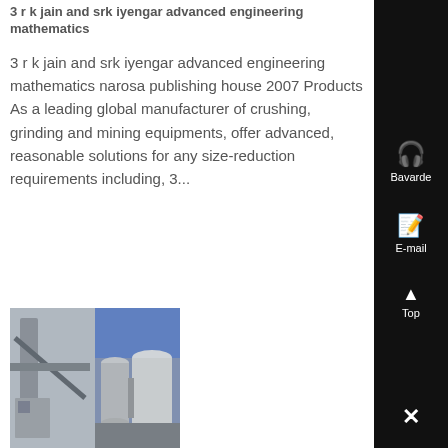3 r k jain and srk iyengar advanced engineering mathematics
3 r k jain and srk iyengar advanced engineering mathematics narosa publishing house 2007 Products As a leading global manufacturer of crushing, grinding and mining equipments, offer advanced, reasonable solutions for any size-reduction requirements including, 3...
[Figure (photo): Industrial equipment photo showing crushing/grinding/mining machinery in a factory setting with large cylindrical structures, pipes, and equipment.]